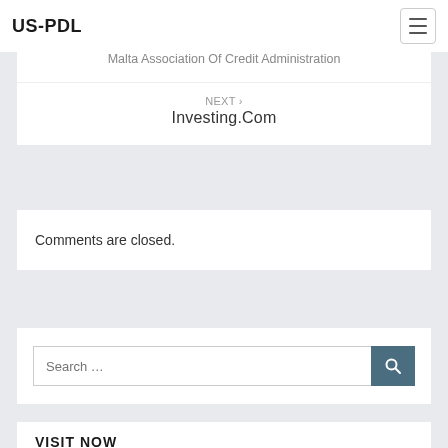US-PDL
Malta Association Of Credit Administration
NEXT › Investing.Com
Comments are closed.
[Figure (screenshot): Search input field with placeholder text 'Search …' and a dark teal search button with magnifying glass icon]
VISIT NOW